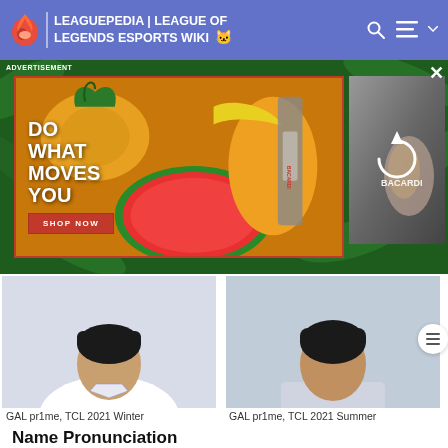LEAGUEPEDIA | LEAGUE OF LEGENDS ESPORTS WIKI
[Figure (screenshot): Advertisement banner for Bacardi featuring tropical fruits (pineapple, watermelon, papaya), a Bacardi rum bottle, with text 'DO WHAT MOVES YOU' and 'SHOP NOW' button. A secondary image shows a hand holding a Bacardi can with a refresh/loading icon overlay.]
[Figure (photo): Photo of GAL pr1me player, TCL 2021 Winter season]
GAL pr1me, TCL 2021 Winter
[Figure (photo): Photo of GAL pr1me player, TCL 2021 Summer season]
GAL pr1me, TCL 2021 Summer
Name Pronunciation
| Prime |
| --- |